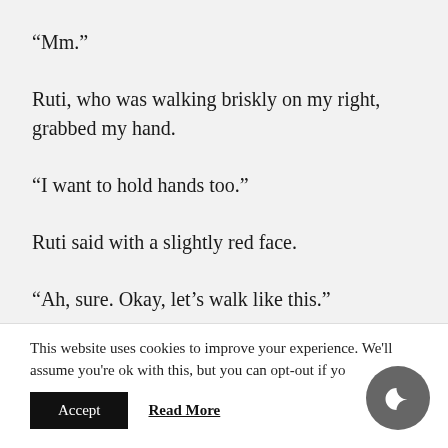“Mm.”
Ruti, who was walking briskly on my right, grabbed my hand.
“I want to hold hands too.”
Ruti said with a slightly red face.
“Ah, sure. Okay, let’s walk like this.”
This website uses cookies to improve your experience. We'll assume you're ok with this, but you can opt-out if yo.
Accept
Read More